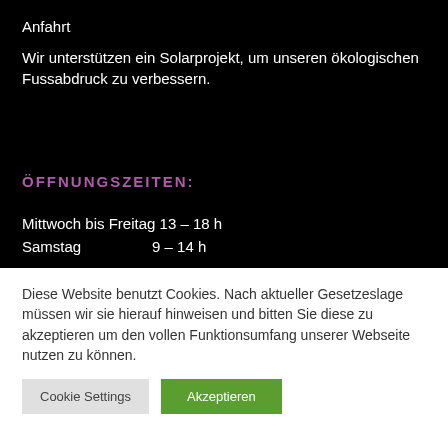Anfahrt
Wir unterstützen ein Solarprojekt, um unseren ökologischen Fussabdruck zu verbessern.
ÖFFNUNGSZEITEN:
Mittwoch bis Freitag 13 – 18 h
Samstag                9 – 14 h
Diese Website benutzt Cookies. Nach aktueller Gesetzeslage müssen wir sie hierauf hinweisen und bitten Sie diese zu akzeptieren um den vollen Funktionsumfang unserer Webseite nutzen zu können.
Cookie Settings
Akzeptieren